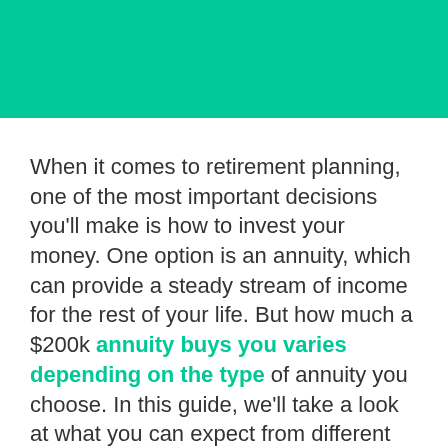[Figure (other): Solid green banner/header background rectangle at top of page]
When it comes to retirement planning, one of the most important decisions you'll make is how to invest your money. One option is an annuity, which can provide a steady stream of income for the rest of your life. But how much a $200k annuity buys you varies depending on the type of annuity you choose. In this guide, we'll take a look at what you can expect from different types of annuities. We'll also discuss how to find the best annuity for your needs. So if you're